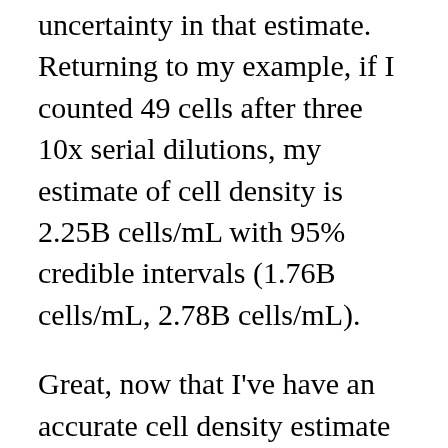uncertainty in that estimate. Returning to my example, if I counted 49 cells after three 10x serial dilutions, my estimate of cell density is 2.25B cells/mL with 95% credible intervals (1.76B cells/mL, 2.78B cells/mL).
Great, now that I've have an accurate cell density estimate and its uncertainty with hemocytometers, I can move on and say: I hate hemocytometers. Sigh. They require dilutions which are messy, they require manually counting to hundreds, they require me to keep some state in my head